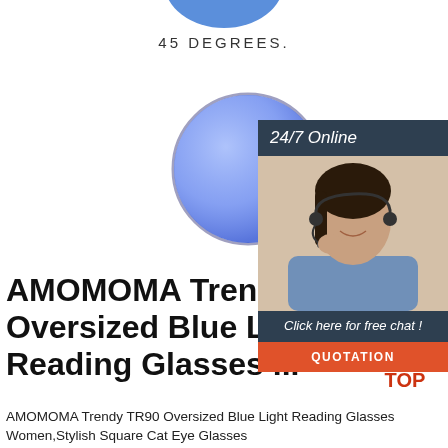[Figure (photo): Partial blue circular lens visible at top of page]
45 DEGREES.
[Figure (photo): Side view of oversized round blue-lens aviator-style glasses with thin metal frame and black temple tips]
[Figure (infographic): 24/7 Online live chat popup showing a female customer service agent with headset, with 'Click here for free chat!' text and orange QUOTATION button]
AMOMOMA Trendy TR90 Oversized Blue Light Reading Glasses ...
AMOMOMA Trendy TR90 Oversized Blue Light Reading Glasses Women,Stylish Square Cat Eye Glasses